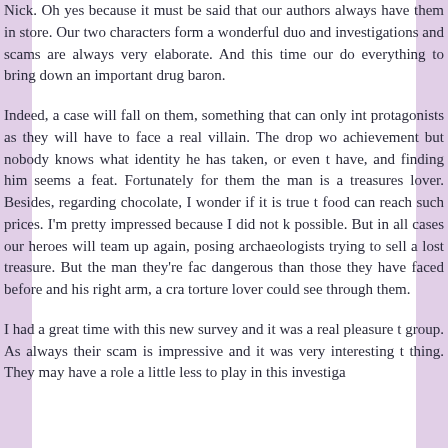Nick. Oh yes because it must be said that our authors always have them in store. Our two characters form a wonderful duo and investigations and scams are always very elaborate. And this time our do everything to bring down an important drug baron.
Indeed, a case will fall on them, something that can only int protagonists as they will have to face a real villain. The drop wo achievement but nobody knows what identity he has taken, or even t have, and finding him seems a feat. Fortunately for them the man is a treasures lover. Besides, regarding chocolate, I wonder if it is true t food can reach such prices. I'm pretty impressed because I did not k possible. But in all cases our heroes will team up again, posing archaeologists trying to sell a lost treasure. But the man they're fac dangerous than those they have faced before and his right arm, a cra torture lover could see through them.
I had a great time with this new survey and it was a real pleasure t group. As always their scam is impressive and it was very interesting t thing. They may have a role a little less to play in this investiga